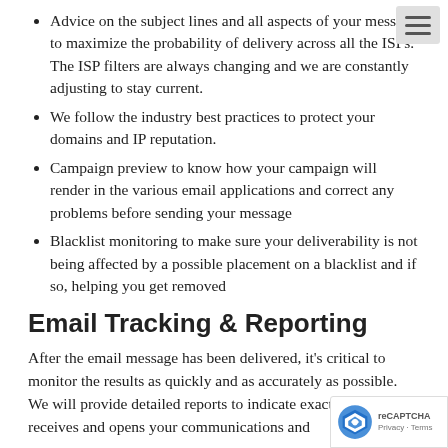Advice on the subject lines and all aspects of your message to maximize the probability of delivery across all the ISPs. The ISP filters are always changing and we are constantly adjusting to stay current.
We follow the industry best practices to protect your domains and IP reputation.
Campaign preview to know how your campaign will render in the various email applications and correct any problems before sending your message
Blacklist monitoring to make sure your deliverability is not being affected by a possible placement on a blacklist and if so, helping you get removed
Email Tracking & Reporting
After the email message has been delivered, it's critical to monitor the results as quickly and as accurately as possible. We will provide detailed reports to indicate exactly who receives and opens your communications and